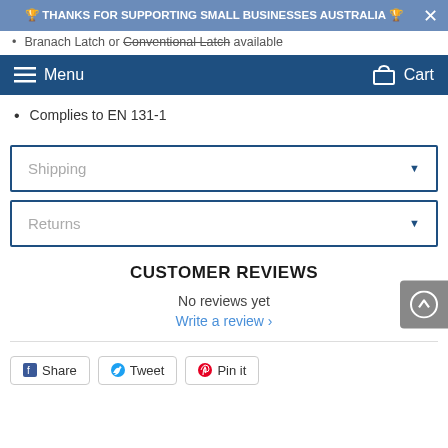🏆 THANKS FOR SUPPORTING SMALL BUSINESSES AUSTRALIA 🏆
Branach Latch or Conventional Latch available
Menu  Cart
Complies to EN 131-1
Shipping
Returns
CUSTOMER REVIEWS
No reviews yet
Write a review ›
Share  Tweet  Pin it